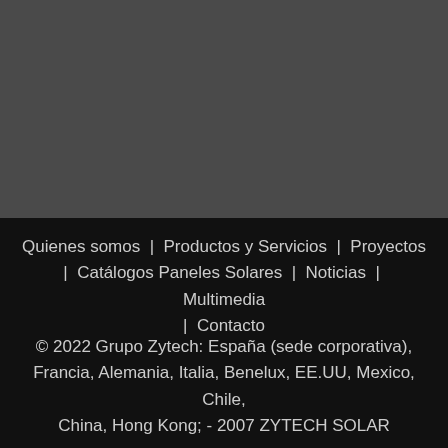[Figure (photo): Dark gray rectangular area occupying the upper portion of the page]
Quienes somos | Productos y Servicios | Proyectos | Catálogos Paneles Solares | Noticias | Multimedia | Contacto
© 2022 Grupo Zytech: España (sede corporativa), Francia, Alemania, Italia, Benelux, EE.UU, Mexico, Chile, China, Hong Kong; - 2007 ZYTECH SOLAR